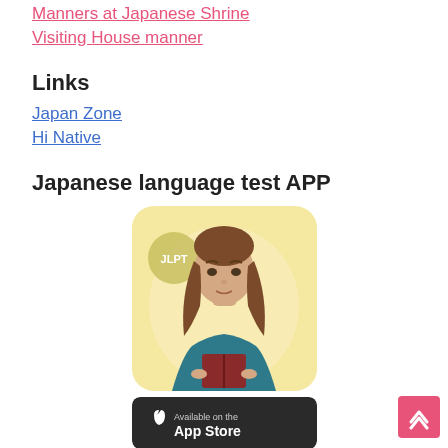Manners at Japanese Shrine
Visiting House manner
Links
Japan Zone
Hi Native
Japanese language test APP
[Figure (illustration): App icon showing an illustrated woman with brown hair wearing a blue top, holding a book, with a light yellow background and 'JLPT' badge in the upper left corner. Rounded rectangle shape.]
[Figure (screenshot): App Store download button showing 'Available on the' text with Apple logo]